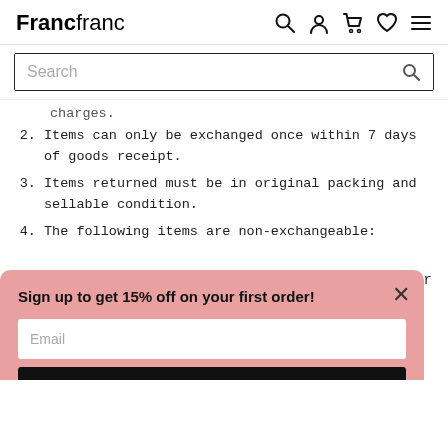Francfranc [icons: search, account, cart, wishlist, menu]
[Figure (screenshot): Search bar with magnifier icon]
charges. (partial, cut off at top)
2. Items can only be exchanged once within 7 days of goods receipt.
3. Items returned must be in original packing and sellable condition.
4. The following items are non-exchangeable:
[Figure (screenshot): Popup modal with pink background: Sign up to get 15% off on your first order! Email input, Sign Up button, disclaimer text.]
air
jewelry
Altered, assembled and